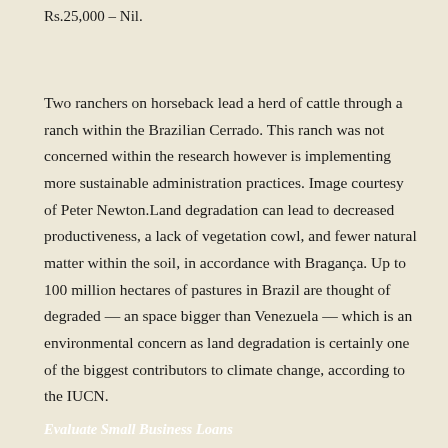Rs.25,000 – Nil.
Two ranchers on horseback lead a herd of cattle through a ranch within the Brazilian Cerrado. This ranch was not concerned within the research however is implementing more sustainable administration practices. Image courtesy of Peter Newton.Land degradation can lead to decreased productiveness, a lack of vegetation cowl, and fewer natural matter within the soil, in accordance with Bragança. Up to 100 million hectares of pastures in Brazil are thought of degraded — an space bigger than Venezuela — which is an environmental concern as land degradation is certainly one of the biggest contributors to climate change, according to the IUCN.
Evaluate Small Business Loans